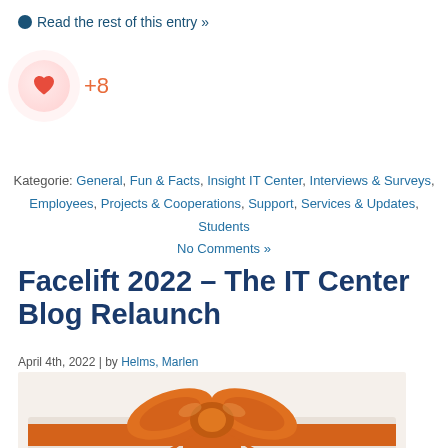► Read the rest of this entry »
[Figure (illustration): Heart like button with red heart icon inside a circular glow, showing +8 likes count in orange]
Kategorie: General, Fun & Facts, Insight IT Center, Interviews & Surveys, Employees, Projects & Cooperations, Support, Services & Updates, Students
No Comments »
Facelift 2022 – The IT Center Blog Relaunch
April 4th, 2022 | by Helms, Marlen
[Figure (photo): White gift box with large orange satin bow ribbon on top, soft white background]